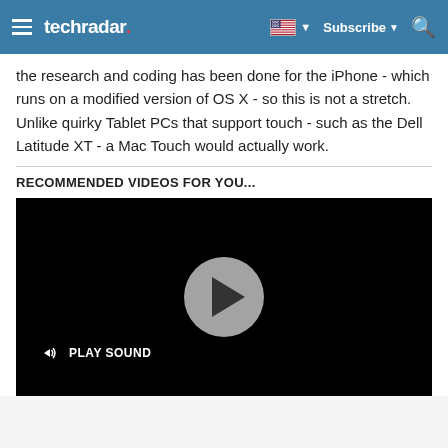techradar | Subscribe
the research and coding has been done for the iPhone - which runs on a modified version of OS X - so this is not a stretch. Unlike quirky Tablet PCs that support touch - such as the Dell Latitude XT - a Mac Touch would actually work.
RECOMMENDED VIDEOS FOR YOU...
[Figure (screenshot): Video player with black background, a circular play button in the center, and a 'PLAY SOUND' button in the bottom left corner.]